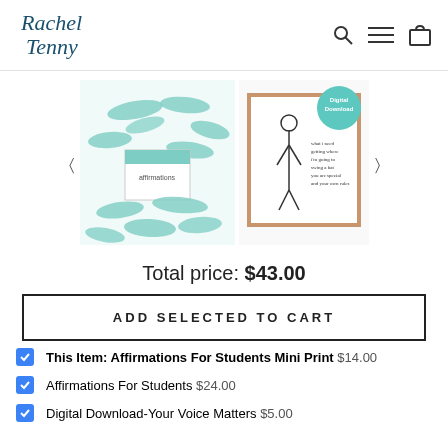[Figure (logo): Rachel Tenny script logo in teal/dark blue cursive]
[Figure (photo): Product photo showing affirmation cards with teal brush strokes scattered around a small box]
[Figure (photo): Secondary product photo showing a framed print with a Digital Download badge]
Total price: $43.00
ADD SELECTED TO CART
This Item: Affirmations For Students Mini Print $14.00
Affirmations For Students $24.00
Digital Download-Your Voice Matters $5.00